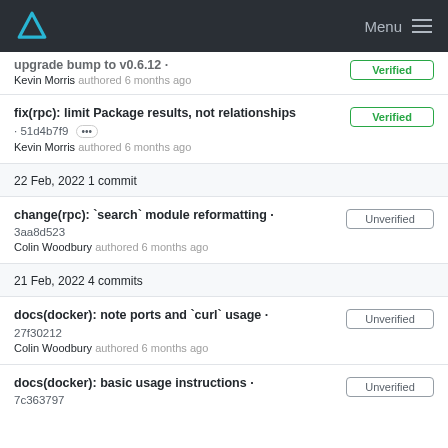Menu
upgrade bump to v0.6.12 · Kevin Morris authored 6 months ago  Verified
fix(rpc): limit Package results, not relationships · 51d4b7f9 ··· Kevin Morris authored 6 months ago  Verified
22 Feb, 2022 1 commit
change(rpc): `search` module reformatting · 3aa8d523  Colin Woodbury authored 6 months ago  Unverified
21 Feb, 2022 4 commits
docs(docker): note ports and `curl` usage · 27f30212  Colin Woodbury authored 6 months ago  Unverified
docs(docker): basic usage instructions · 7c363797  Unverified